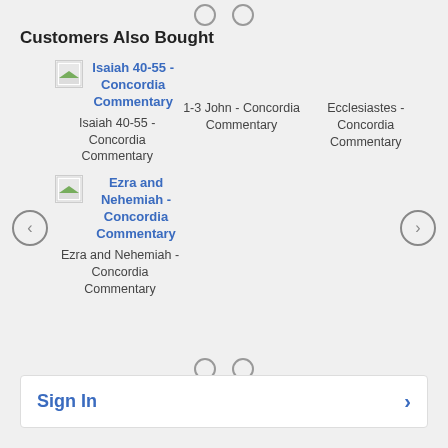[Figure (other): Two pagination dots at top of carousel]
Customers Also Bought
[Figure (other): Left navigation arrow button]
Isaiah 40-55 - Concordia Commentary | Isaiah 40-55 - Concordia Commentary
1-3 John - Concordia Commentary
Ecclesiastes - Concordia Commentary
Ezra and Nehemiah - Concordia Commentary | Ezra and Nehemiah - Concordia Commentary
[Figure (other): Right navigation arrow button]
[Figure (other): Two pagination dots at bottom of carousel]
Sign In >